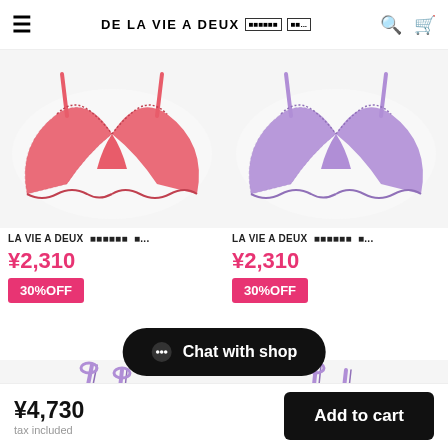≡  DE LA VIE A DEUX  [JP text]  [JP..]  🔍  🛒
[Figure (photo): Pink/coral lace bra product image on white background]
LA VIE A DEUX  [JP text]  [...
¥2,310
30%OFF
[Figure (photo): Lavender/purple lace bra product image on white background]
LA VIE A DEUX  [JP text]  [...
¥2,310
30%OFF
もっと見る (load more / pagination text in Japanese)
[Figure (photo): Partial view of next product row showing lavender straps/accessories]
Chat with shop
¥4,730  tax included    Add to cart